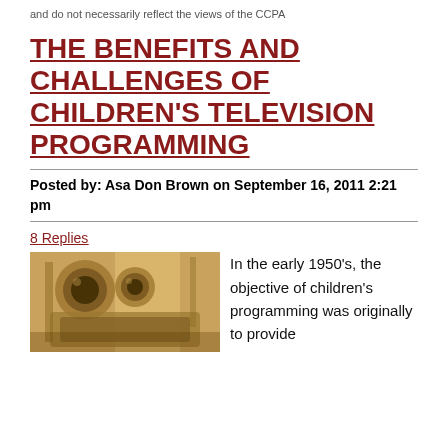The views expressed by our authors are personal opinions and do not necessarily reflect the views of the CCPA
THE BENEFITS AND CHALLENGES OF CHILDREN'S TELEVISION PROGRAMMING
Posted by: Asa Don Brown on September 16, 2011 2:21 pm
8 Replies
[Figure (photo): Sepia-toned vintage photo of an old television camera with rounded lenses]
In the early 1950's, the objective of children's programming was originally to provide